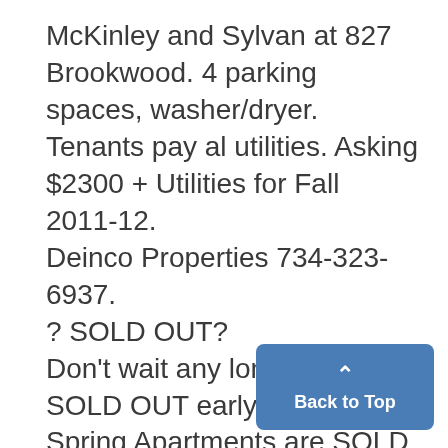McKinley and Sylvan at 827 Brookwood. 4 parking spaces, washer/dryer. Tenants pay al utilities. Asking $2300 + Utilities for Fall 2011-12. Deinco Properties 734-323-6937. ? SOLD OUT? Don't wait any longer, we SOLD OUT early last year. Spring Apartments are SOLD OUT, so Sign your FALL lease today for Best Selection. NOW is the time to secure your apartment home at University Towers 734-761-2688 universitytowcrs-mi.comt CENTRAL CAMPUS. FURNISHED at